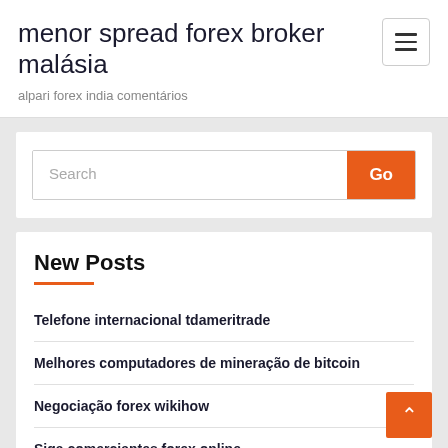menor spread forex broker malásia
alpari forex india comentários
Search
Go
New Posts
Telefone internacional tdameritrade
Melhores computadores de mineração de bitcoin
Negociação forex wikihow
Siga comerciantes forex online